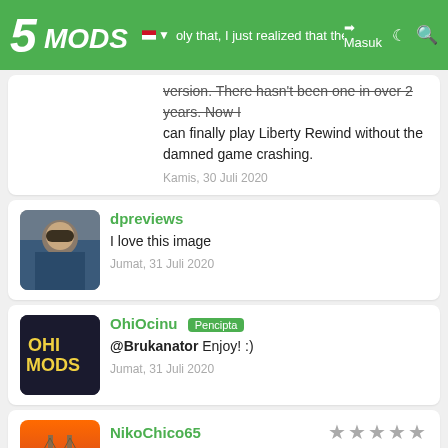5MODS navigation bar with logo, flag, Masuk button, and search icon
...oly that, I just realized that there's no new cracked version. There hasn't been one in over 2 years. Now I can finally play Liberty Rewind without the damned game crashing.
Kamis, 30 Juli 2020
dpreviews
I love this image
Jumat, 31 Juli 2020
OhiOcinu Pencipta
@Brukanator Enjoy! :)
Jumat, 31 Juli 2020
NikoChico65
@OhiOcinu Beautiful! do you do custom car builds? i can paypal you too for the work if it helps..
Jumat, 31 Juli 2020